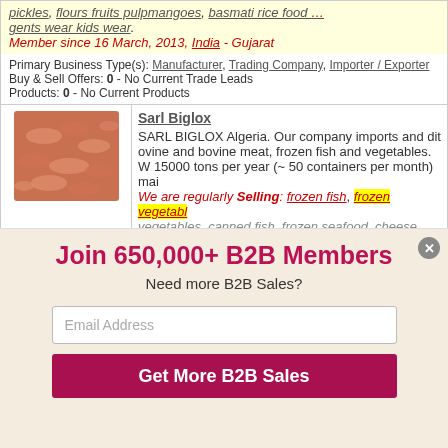pickles, flours fruits pulpmangoes, basmati rice food ... gents wear kids wear. Member since 16 March, 2013, India - Gujarat
Primary Business Type(s): Manufacturer, Trading Company, Importer / Exporter
Buy & Sell Offers: 0 - No Current Trade Leads
Products: 0 - No Current Products
Sarl Biglox
SARL BIGLOX Algeria. Our company imports and dist ovine and bovine meat, frozen fish and vegetables. W 15000 tons per year (~ 50 containers per month) mai
We are regularly Selling: frozen fish, frozen vegetabl vegetables, canned fish, frozen seafood, cheese.
Member since 7 March, 2010, Algeria - Alger
Join 650,000+ B2B Members
Need more B2B Sales?
Email Address
Get More B2B Sales